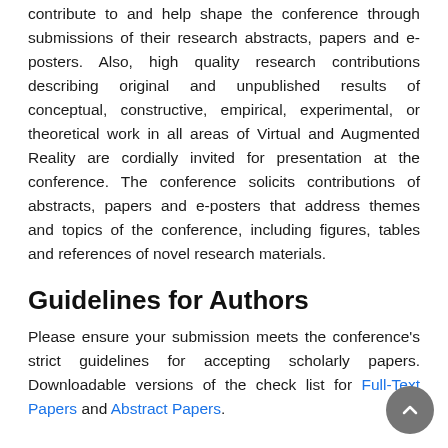Prospective authors are kindly encouraged to contribute to and help shape the conference through submissions of their research abstracts, papers and e-posters. Also, high quality research contributions describing original and unpublished results of conceptual, constructive, empirical, experimental, or theoretical work in all areas of Virtual and Augmented Reality are cordially invited for presentation at the conference. The conference solicits contributions of abstracts, papers and e-posters that address themes and topics of the conference, including figures, tables and references of novel research materials.
Guidelines for Authors
Please ensure your submission meets the conference's strict guidelines for accepting scholarly papers. Downloadable versions of the check list for Full-Text Papers and Abstract Papers.